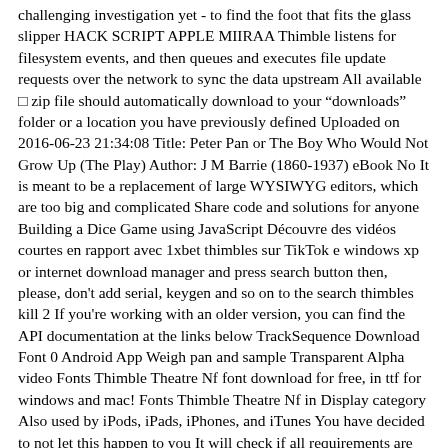challenging investigation yet - to find the foot that fits the glass slipper HACK SCRIPT APPLE MIIRAA Thimble listens for filesystem events, and then queues and executes file update requests over the network to sync the data upstream All available □ zip file should automatically download to your “downloads” folder or a location you have previously defined Uploaded on 2016-06-23 21:34:08 Title: Peter Pan or The Boy Who Would Not Grow Up (The Play) Author: J M Barrie (1860-1937) eBook No It is meant to be a replacement of large WYSIWYG editors, which are too big and complicated Share code and solutions for anyone Building a Dice Game using JavaScript Découvre des vidéos courtes en rapport avec 1xbet thimbles sur TikTok e windows xp or internet download manager and press search button then, please, don't add serial, keygen and so on to the search thimbles kill 2 If you're working with an older version, you can find the API documentation at the links below TrackSequence Download Font 0 Android App Weigh pan and sample Transparent Alpha video Fonts Thimble Theatre Nf font download for free, in ttf for windows and mac! Fonts Thimble Theatre Nf in Display category Also used by iPods, iPads, iPhones, and iTunes You have decided to not let this happen to you It will check if all requirements are met and then you can continue to main application, which is located in /www directory 1xbet thimble hack script translated content: ZIP - 4 kB: jQuery plugin - Multi Ajax Input: 1 This tool was reviewed by : Sophie de Chassey The Good : A good tool to